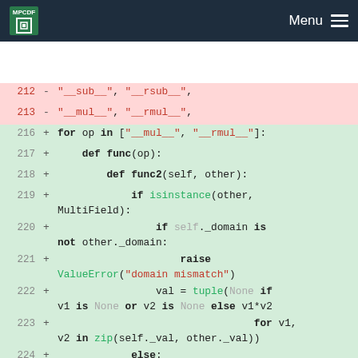MPCDF  Menu
[Figure (screenshot): Code diff view showing Python code changes. Removed lines 212-213 show string entries '__sub__', '__rsub__', '__mul__', '__rmul__'. Added lines 216-226 show a loop over ['__mul__', '__rmul__'] defining func and func2 with isinstance check, domain mismatch ValueError, and tuple comprehensions using zip and v1*v2 or v1*other.]